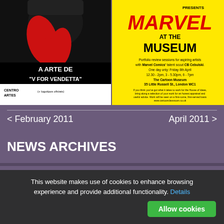[Figure (illustration): Left poster: 'A Arte de V for Vendetta' - black background with red gloved hand illustration, white text at bottom, logos at footer including CENTRO ARTES and others]
[Figure (illustration): Right poster: yellow background 'MARVEL AT THE MUSEUM' - Portfolio review sessions for aspiring artists with Marvel Comics talent scout CB Cebulski. One day only: Friday 8th April 12.30-2pm, 3-5.30pm, 6-7pm. The Cartoon Museum, 35 Little Russell St., London WC1]
< February 2011
April 2011 >
NEWS ARCHIVES
This website makes use of cookies to enhance browsing experience and provide additional functionality. Details
Allow cookies